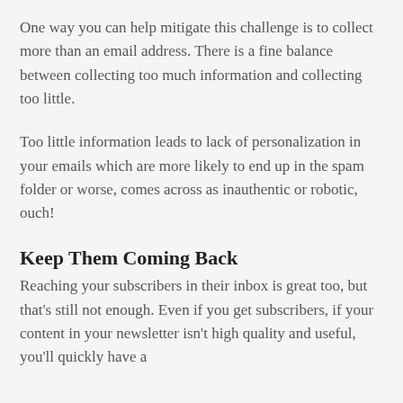One way you can help mitigate this challenge is to collect more than an email address. There is a fine balance between collecting too much information and collecting too little.
Too little information leads to lack of personalization in your emails which are more likely to end up in the spam folder or worse, comes across as inauthentic or robotic, ouch!
Keep Them Coming Back
Reaching your subscribers in their inbox is great too, but that's still not enough. Even if you get subscribers, if your content in your newsletter isn't high quality and useful, you'll quickly have a